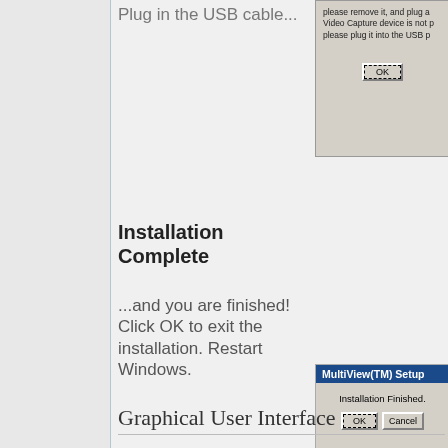Plug in the USB cable...
[Figure (screenshot): Windows dialog with OK button, partially visible, showing text about Video Capture device and USB plug prompt]
Installation Complete
...and you are finished! Click OK to exit the installation. Restart Windows.
[Figure (screenshot): MultiView(TM) Setup dialog showing 'Installation Finished.' with OK and Cancel buttons]
Graphical User Interface